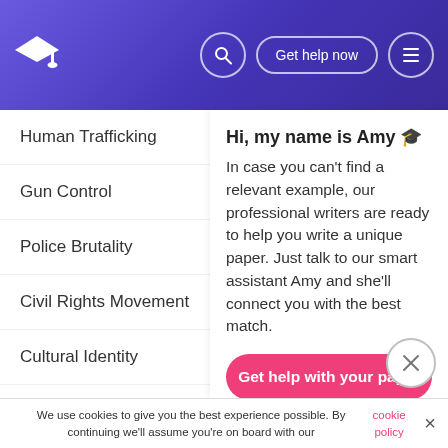Get help now
Human Trafficking
Gun Control
Police Brutality
Civil Rights Movement
Cultural Identity
Technology
Psychology
Romeo and Juliet
Mental Health
Hi, my name is Amy 🎓
In case you can't find a relevant example, our professional writers are ready to help you write a unique paper. Just talk to our smart assistant Amy and she'll connect you with the best match.
Get help with your paper
We use cookies to give you the best experience possible. By continuing we'll assume you're on board with our cookie policy